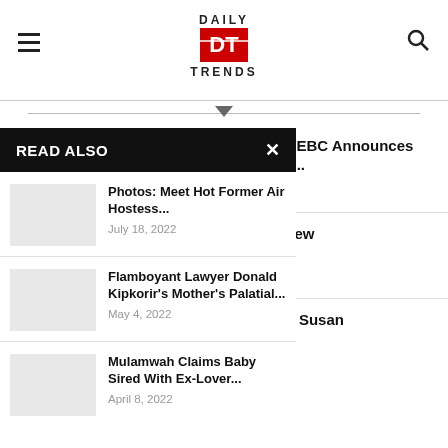Daily DT Trends
Raila Ahead As IEBC Announces al Results From...
22
nt Announces New -opening Date
22
jui To Challenge Susan ection In...
22
READ ALSO
Photos: Meet Hot Former Air Hostess... July 18, 2022
Flamboyant Lawyer Donald Kipkorir's Mother's Palatial... May 4, 2022
Mulamwah Claims Baby Sired With Ex-Lover... April 8, 2022